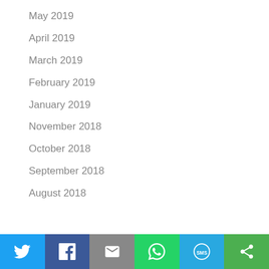May 2019
April 2019
March 2019
February 2019
January 2019
November 2018
October 2018
September 2018
August 2018
Social share bar: Twitter, Facebook, Email, WhatsApp, SMS, Share